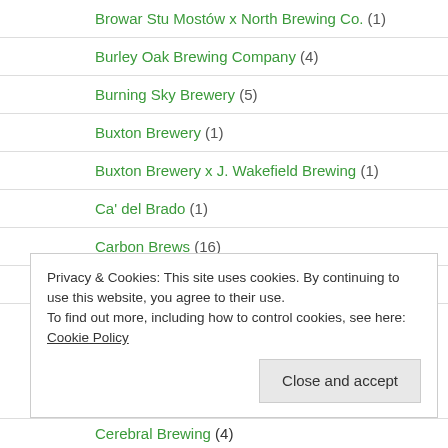Browar Stu Mostów x North Brewing Co. (1)
Burley Oak Brewing Company (4)
Burning Sky Brewery (5)
Buxton Brewery (1)
Buxton Brewery x J. Wakefield Brewing (1)
Ca' del Brado (1)
Carbon Brews (16)
Carbon Brews x Heroes Beer Co. (2)
Carbon Brews x Moon Dog Craft Brewery (2)
Privacy & Cookies: This site uses cookies. By continuing to use this website, you agree to their use.
To find out more, including how to control cookies, see here: Cookie Policy
Cerebral Brewing (4)